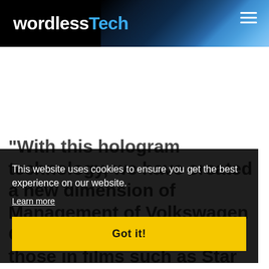wordlessTech
[Figure (photo): Website header with wordlessTech logo on black background with Earth atmosphere/space image on the right side and hamburger menu icon top right]
“With this hologram technology, we have created a new dimension of Management of Volkswagen Group communication. Like those in films such as Star Trek and Star Wars – and we are very close to replicating this cinematic reality”
This website uses cookies to ensure you get the best experience on our website. Learn more
Got it!